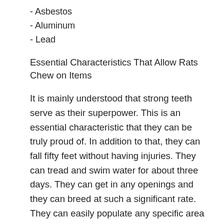- Asbestos
- Aluminum
- Lead
Essential Characteristics That Allow Rats Chew on Items
It is mainly understood that strong teeth serve as their superpower. This is an essential characteristic that they can be truly proud of. In addition to that, they can fall fifty feet without having injuries. They can tread and swim water for about three days. They can get in any openings and they can breed at such a significant rate. They can easily populate any specific area and they can mutate their genes. This is what made them immune to rat poisons.